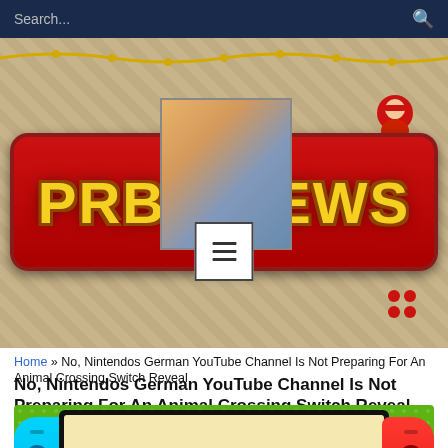Search...
[Figure (screenshot): PRBN News website header banner with logo on mosaic/tile background, featuring 'PRBN NEWS' text in yellow on red banner, with a floating overlay image and Mario-like character icon]
[Figure (screenshot): Hamburger menu button (three horizontal lines) in a white square with black border]
Home » No, Nintendos German YouTube Channel Is Not Preparing For An Animal Crossing Switch Reveal
No, Nintendos German YouTube Channel Is Not Preparing For An Animal Crossing Switch Reveal
[Figure (screenshot): Nintendo Switch console with cyan left Joy-Con and red right Joy-Con displaying Animal Crossing welcome screen on a green dotted background]